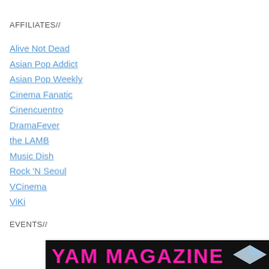AFFILIATES//
Alive Not Dead
Asian Pop Addict
Asian Pop Weekly
Cinema Fanatic
Cinencuentro
DramaFever
the LAMB
Music Dish
Rock 'N Seoul
VCinema
ViKi
EVENTS//
[Figure (logo): YAM MAGAZINE logo in hot pink bold text on dark background with a diamond/gem graphic on the right side]